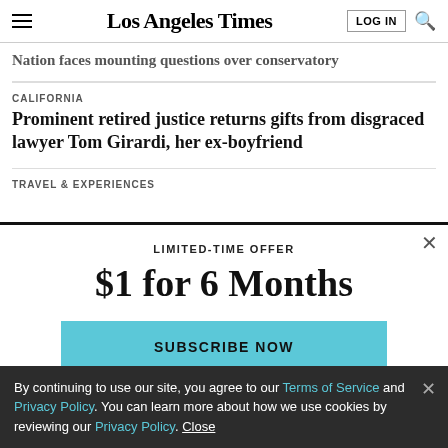Los Angeles Times
Nation faces mounting questions over conservatory
CALIFORNIA
Prominent retired justice returns gifts from disgraced lawyer Tom Girardi, her ex-boyfriend
TRAVEL & EXPERIENCES
LIMITED-TIME OFFER
$1 for 6 Months
SUBSCRIBE NOW
By continuing to use our site, you agree to our Terms of Service and Privacy Policy. You can learn more about how we use cookies by reviewing our Privacy Policy. Close